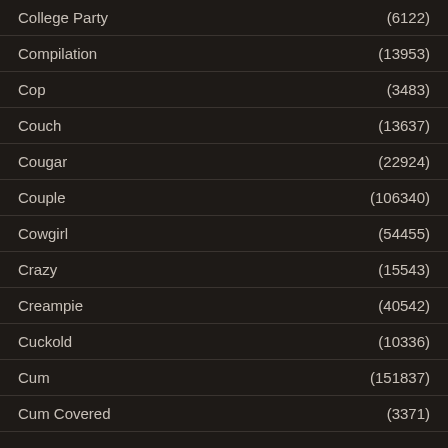College Party (6122)
Compilation (13953)
Cop (3483)
Couch (13637)
Cougar (22924)
Couple (106340)
Cowgirl (54455)
Crazy (15543)
Creampie (40542)
Cuckold (10336)
Cum (151837)
Cum Covered (3371)